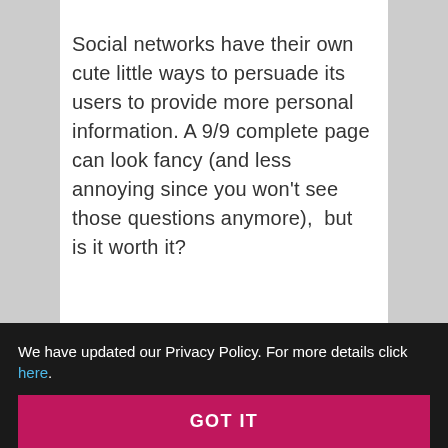Social networks have their own cute little ways to persuade its users to provide more personal information. A 9/9 complete page can look fancy (and less annoying since you won't see those questions anymore),  but is it worth it?
[Figure (screenshot): A 'Did You Know' card UI element with an orange chat bubble icon and the subtext 'Answer a question to help people get to know you']
We have updated our Privacy Policy. For more details click here.
GOT IT